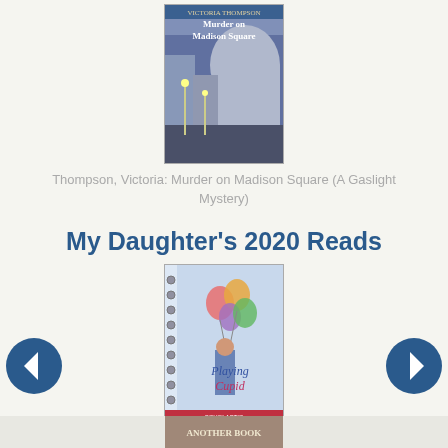[Figure (photo): Book cover of 'Murder on Madison Square' by Victoria Thompson, showing a city street scene at dusk with buildings and street lamps]
Thompson, Victoria: Murder on Madison Square (A Gaslight Mystery)
My Daughter's 2020 Reads
[Figure (photo): Book cover of 'Playing Cupid' by Jenny Meyerhoff, showing a girl with colorful balloons on a light blue background]
Meyerhoff, Jenny: Playing Cupid: A Wish Novel